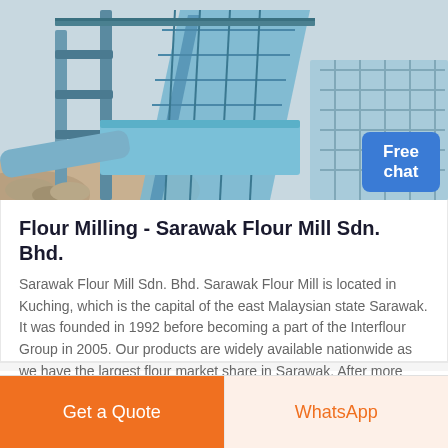[Figure (photo): Industrial flour milling equipment - blue/teal colored conveyor and processing machinery at a facility, with rocky aggregate material visible]
Flour Milling - Sarawak Flour Mill Sdn. Bhd.
Sarawak Flour Mill Sdn. Bhd. Sarawak Flour Mill is located in Kuching, which is the capital of the east Malaysian state Sarawak. It was founded in 1992 before becoming a part of the Interflour Group in 2005. Our products are widely available nationwide as we have the largest flour market share in Sarawak. After more than 20 years of solid ...
Get a Quote
WhatsApp